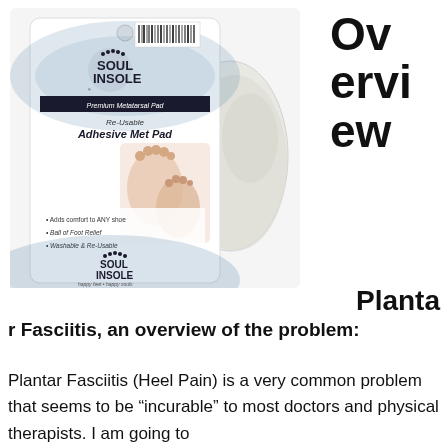[Figure (photo): Product packaging photo of Soul Insole Re-Usable Adhesive Met Pad, with silicone insole pads shown beside the packaging. Packaging shows foot images, bullet points: Adds comfort to ANY shoe, Ball of Foot Relief, Washable & Re-Usable.]
Overview
Plantar Fasciitis, an overview of the problem:
Plantar Fasciitis (Heel Pain) is a very common problem that seems to be “incurable” to most doctors and physical therapists. I am going to